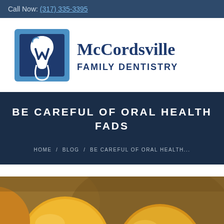Call Now: (317) 335-3395
[Figure (logo): McCordsville Family Dentistry logo with stylized tooth and letter W in blue square, beside text 'McCordsville Family Dentistry']
BE CAREFUL OF ORAL HEALTH FADS
HOME / BLOG / BE CAREFUL OF ORAL HEALTH...
[Figure (photo): Close-up photo of yellow/orange citrus fruits with blurred warm background]